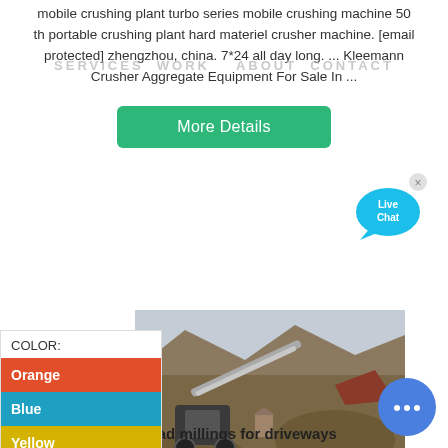mobile crushing plant turbo series mobile crushing machine 50 th portable crushing plant hard materiel crusher machine. [email protected] zhengzhou, china. 7*24 all day long. ... Kleemann Crusher Aggregate Equipment For Sale In ...
SERVICES  WORK    ABOUT  CONTACT
More Details
[Figure (illustration): Live Chat speech bubble icon with cyan color and x close button]
COLOR:
Orange
Blue
Yellow
[Figure (photo): Outdoor photo of a mobile crushing plant / aggregate equipment in a desert/rocky terrain setting]
free road millings for driveways